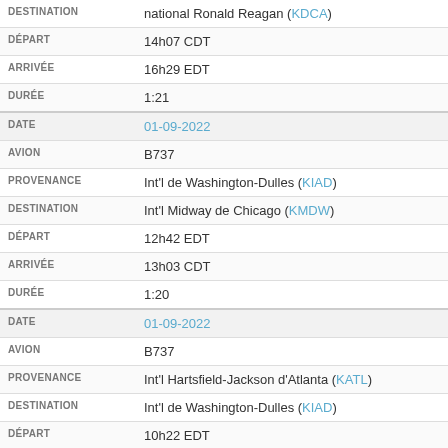| Field | Value |
| --- | --- |
| DESTINATION | national Ronald Reagan (KDCA) |
| DÉPART | 14h07 CDT |
| ARRIVÉE | 16h29 EDT |
| DURÉE | 1:21 |
| DATE | 01-09-2022 |
| AVION | B737 |
| PROVENANCE | Int'l de Washington-Dulles (KIAD) |
| DESTINATION | Int'l Midway de Chicago (KMDW) |
| DÉPART | 12h42 EDT |
| ARRIVÉE | 13h03 CDT |
| DURÉE | 1:20 |
| DATE | 01-09-2022 |
| AVION | B737 |
| PROVENANCE | Int'l Hartsfield-Jackson d'Atlanta (KATL) |
| DESTINATION | Int'l de Washington-Dulles (KIAD) |
| DÉPART | 10h22 EDT |
| ARRIVÉE | 11h36 EDT |
| DURÉE | 1:13 |
| DATE | 01-09-2022 |
| AVION | B737 |
| PROVENANCE | national Ronald Reagan (KDCA) |